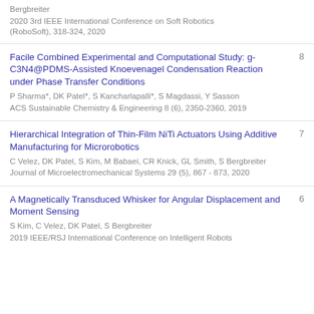Bergbreiter
2020 3rd IEEE International Conference on Soft Robotics (RoboSoft), 318-324, 2020
Facile Combined Experimental and Computational Study: g-C3N4@PDMS-Assisted Knoevenagel Condensation Reaction under Phase Transfer Conditions
P Sharma*, DK Patel*, S Kancharlapalli*, S Magdassi, Y Sasson
ACS Sustainable Chemistry & Engineering 8 (6), 2350-2360, 2019
8
Hierarchical Integration of Thin-Film NiTi Actuators Using Additive Manufacturing for Microrobotics
C Velez, DK Patel, S Kim, M Babaei, CR Knick, GL Smith, S Bergbreiter
Journal of Microelectromechanical Systems 29 (5), 867 - 873, 2020
7
A Magnetically Transduced Whisker for Angular Displacement and Moment Sensing
S Kim, C Velez, DK Patel, S Bergbreiter
2019 IEEE/RSJ International Conference on Intelligent Robots
6